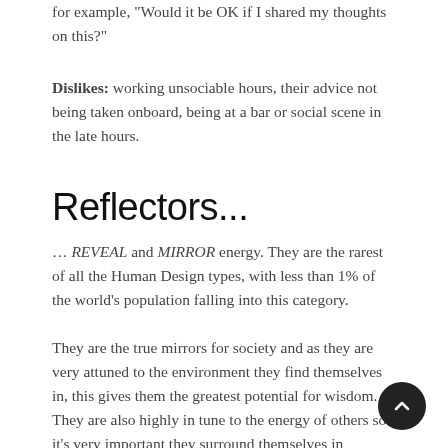for example, "Would it be OK if I shared my thoughts on this?"
Dislikes: working unsociable hours, their advice not being taken onboard, being at a bar or social scene in the late hours.
Reflectors...
… REVEAL and MIRROR energy. They are the rarest of all the Human Design types, with less than 1% of the world's population falling into this category.
They are the true mirrors for society and as they are very attuned to the environment they find themselves in, this gives them the greatest potential for wisdom. They are also highly in tune to the energy of others so it's very important they surround themselves in